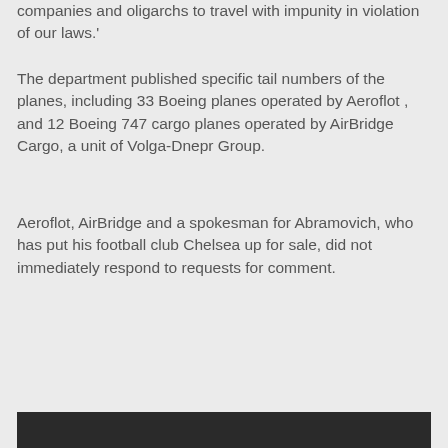companies and oligarchs to travel with impunity in violation of our laws.'
The department published specific tail numbers of the planes, including 33 Boeing planes operated by Aeroflot , and 12 Boeing 747 cargo planes operated by AirBridge Cargo, a unit of Volga-Dnepr Group.
Aeroflot, AirBridge and a spokesman for Abramovich, who has put his football club Chelsea up for sale, did not immediately respond to requests for comment.
[Figure (photo): Dark bar at the bottom of the page, partial image]